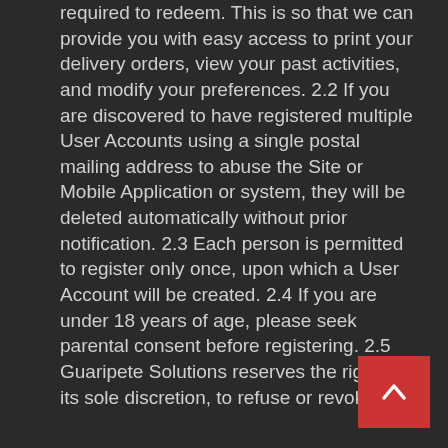required to redeem. This is so that we can provide you with easy access to print your delivery orders, view your past activities, and modify your preferences. 2.2 If you are discovered to have registered multiple User Accounts using a single postal mailing address to abuse the Site or Mobile Application or system, they will be deleted automatically without prior notification. 2.3 Each person is permitted to register only once, upon which a User Account will be created. 2.4 If you are under 18 years of age, please seek parental consent before registering. 2.5 Guaripete Solutions reserves the right, at its sole discretion, to refuse or revoke